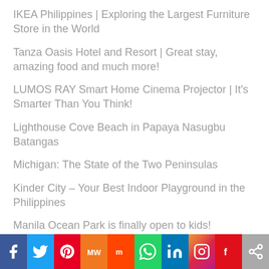IKEA Philippines | Exploring the Largest Furniture Store in the World
Tanza Oasis Hotel and Resort | Great stay, amazing food and much more!
LUMOS RAY Smart Home Cinema Projector | It's Smarter Than You Think!
Lighthouse Cove Beach in Papaya Nasugbu Batangas
Michigan: The State of the Two Peninsulas
Kinder City – Your Best Indoor Playground in the Philippines
Manila Ocean Park is finally open to kids!
Best Places to Move if You Want to Experience Mountain
[Figure (infographic): Social media sharing bar with icons: Facebook, Twitter, Pinterest, MeWe, Mix, WhatsApp, LinkedIn, Instagram, Flipboard, Share]